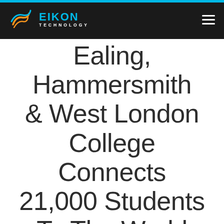[Figure (logo): Eikon Technology logo with stylized swirl icon in orange/blue and company name in cyan with 'TECHNOLOGY' subtitle in white on dark background]
Ealing, Hammersmith & West London College Connects 21,000 Students To The World